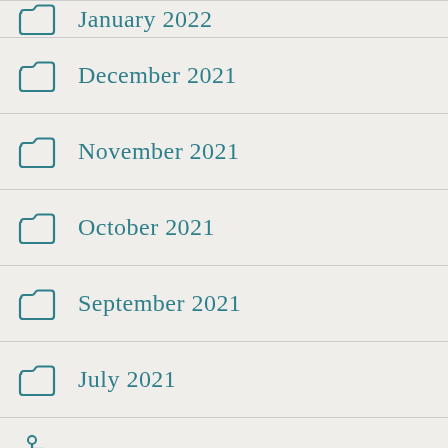January 2022 (partial)
December 2021
November 2021
October 2021
September 2021
July 2021
June 2021